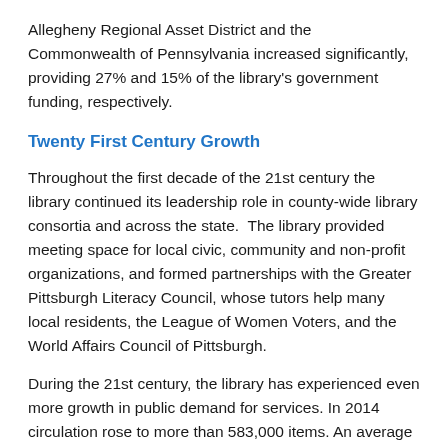Allegheny Regional Asset District and the Commonwealth of Pennsylvania increased significantly, providing 27% and 15% of the library's government funding, respectively.
Twenty First Century Growth
Throughout the first decade of the 21st century the library continued its leadership role in county-wide library consortia and across the state.  The library provided meeting space for local civic, community and non-profit organizations, and formed partnerships with the Greater Pittsburgh Literacy Council, whose tutors help many local residents, the League of Women Voters, and the World Affairs Council of Pittsburgh.
During the 21st century, the library has experienced even more growth in public demand for services. In 2014 circulation rose to more than 583,000 items. An average of 105 visits are made to the library each [Select Language widget] hours per week, year-round). The library's collection numbers 154,648 physical items, including books and